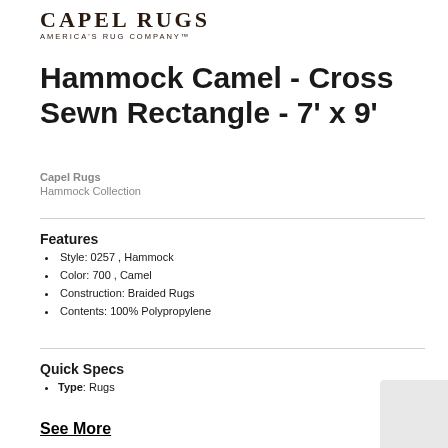[Figure (logo): Capel Rugs logo with text 'CAPEL RUGS' and tagline 'AMERICA'S RUG COMPANY']
Hammock Camel - Cross Sewn Rectangle - 7' x 9'
Capel Rugs
Hammock Collection
Features
Style: 0257 , Hammock
Color: 700 , Camel
Construction: Braided Rugs
Contents: 100% Polypropylene
Quick Specs
Type: Rugs
See More